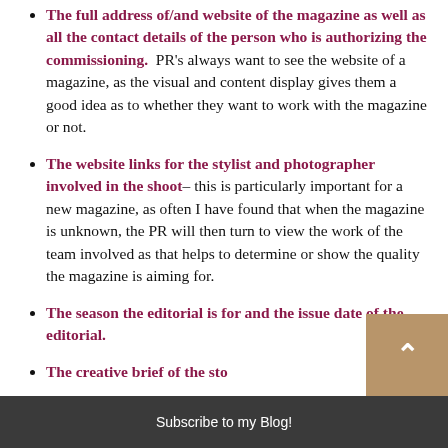The full address of/and website of the magazine as well as all the contact details of the person who is authorizing the commissioning. PR's always want to see the website of a magazine, as the visual and content display gives them a good idea as to whether they want to work with the magazine or not.
The website links for the stylist and photographer involved in the shoot– this is particularly important for a new magazine, as often I have found that when the magazine is unknown, the PR will then turn to view the work of the team involved as that helps to determine or show the quality the magazine is aiming for.
The season the editorial is for and the issue date of the editorial.
The creative brief of the sto...